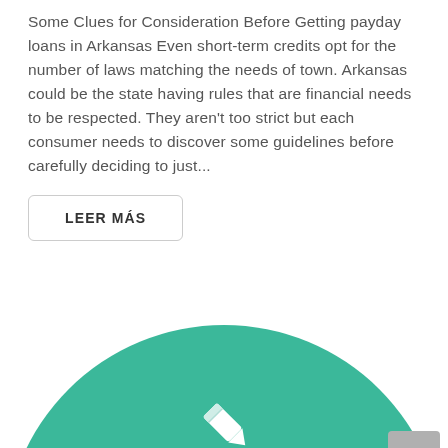Some Clues for Consideration Before Getting payday loans in Arkansas Even short-term credits opt for the number of laws matching the needs of town. Arkansas could be the state having rules that are financial needs to be respected. They aren't too strict but each consumer needs to discover some guidelines before carefully deciding to just...
LEER MÁS
[Figure (illustration): Large teal/green circle partially visible at the bottom of the page, with a white pencil/edit icon centered on it. A gray scroll-to-top button with an upward chevron arrow is in the bottom-right corner.]